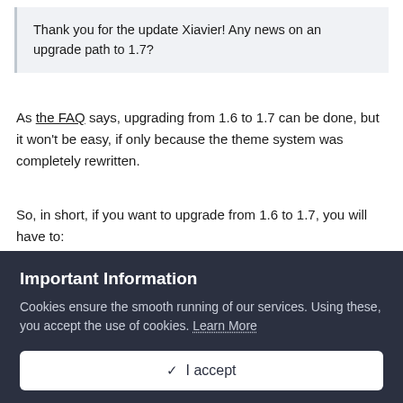Thank you for the update Xiavier! Any news on an upgrade path to 1.7?
As the FAQ says, upgrading from 1.6 to 1.7 can be done, but it won't be easy, if only because the theme system was completely rewritten.
So, in short, if you want to upgrade from 1.6 to 1.7, you will have to:
Have the theme rewritten
Important Information
Cookies ensure the smooth running of our services. Using these, you accept the use of cookies. Learn More
✓ I accept